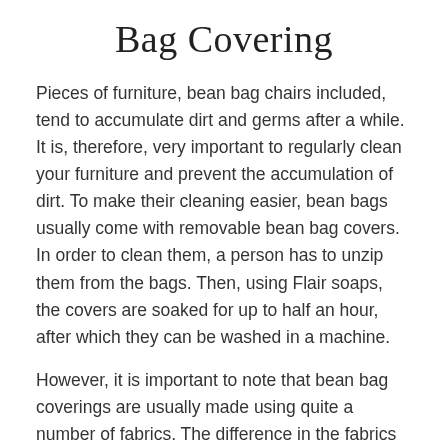Bag Covering
Pieces of furniture, bean bag chairs included, tend to accumulate dirt and germs after a while. It is, therefore, very important to regularly clean your furniture and prevent the accumulation of dirt. To make their cleaning easier, bean bags usually come with removable bean bag covers. In order to clean them, a person has to unzip them from the bags. Then, using Flair soaps, the covers are soaked for up to half an hour, after which they can be washed in a machine.
However, it is important to note that bean bag coverings are usually made using quite a number of fabrics. The difference in the fabrics is what makes the cleaning requirements of each fabric different from the other. Each of these types of fabrics